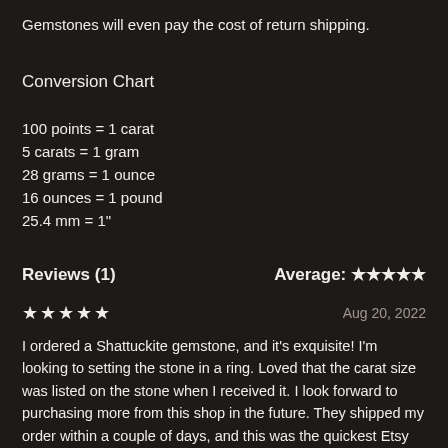Gemstones will even pay the cost of return shipping.
Conversion Chart
100 points = 1 carat
5 carats = 1 gram
28 grams = 1 ounce
16 ounces = 1 pound
25.4 mm = 1"
Reviews (1)   Average: ★★★★★
★★★★★   Aug 20, 2022
I ordered a Shattuckite gemstone, and it's exquisite! I'm looking to setting the stone in a ring. Loved that the carat size was listed on the stone when I received it. I look forward to purchasing more from this shop in the future. They shipped my order within a couple of days, and this was the quickest Etsy order I've ever received.